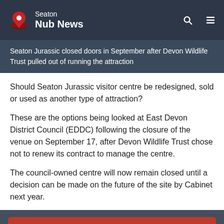Seaton Nub News
Seaton Jurassic closed doors in September after Devon Wildlife Trust pulled out of running the attraction
Should Seaton Jurassic visitor centre be redesigned, sold or used as another type of attraction?
These are the options being looked at East Devon District Council (EDDC) following the closure of the venue on September 17, after Devon Wildlife Trust chose not to renew its contract to manage the centre.
The council-owned centre will now remain closed until a decision can be made on the future of the site by Cabinet next year.
gardens, was greatly affected by the pandemic with